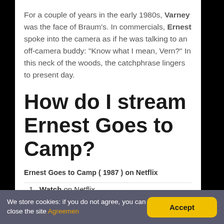For a couple of years in the early 1980s, Varney was the face of Braum's. In commercials, Ernest spoke into the camera as if he was talking to an off-camera buddy: "Know what I mean, Vern?" In this neck of the woods, the catchphrase lingers to present day.
How do I stream Ernest Goes to Camp?
Ernest Goes to Camp ( 1987 ) on Netflix
Watch on Netflix.
Watch on NordVPN.
We store cookies: if you do not agree, you can close the site Agreemen
Accept